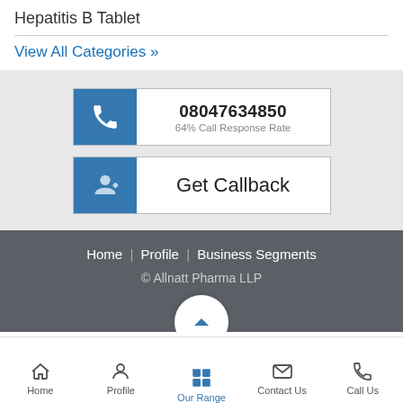Hepatitis B Tablet
View All Categories »
08047634850
64% Call Response Rate
Get Callback
Home | Profile | Business Segments
© Allnatt Pharma LLP
Home | Profile | Our Range | Contact Us | Call Us